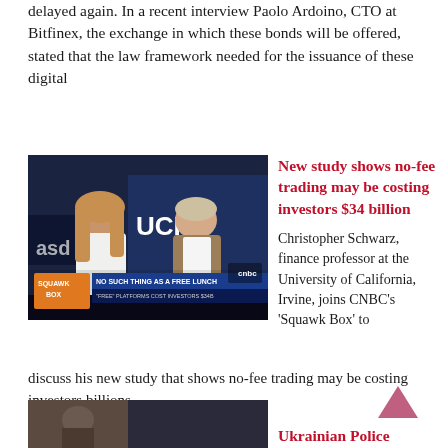delayed again. In a recent interview Paolo Ardoino, CTO at Bitfinex, the exchange in which these bonds will be offered, stated that the law framework needed for the issuance of these digital
[Figure (screenshot): CNBC Squawk Box screenshot showing two news anchors – a woman and a man – in front of UCI (University of California, Irvine) backdrop. Lower-third banner reads: SQUAWK BOX / NO SUCH THING AS A FREE LUNCH / "FREE" PLATFORMS COST INVESTORS $34B]
New study shows no-fee trading may be costing investors $34 billion
Christopher Schwarz, finance professor at the University of California, Irvine, joins CNBC's 'Squawk Box' to discuss his new study that shows no-fee trading may be costing investors billions.
[Figure (screenshot): Partial bottom thumbnail image (cropped)]
Ukrainian Police